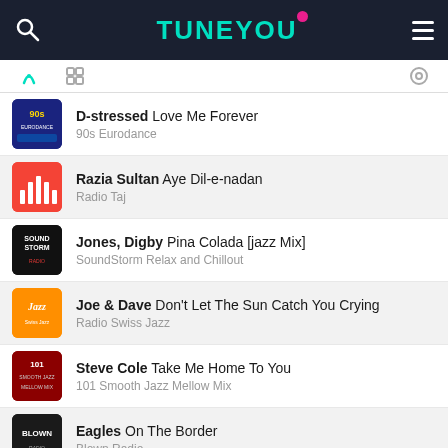TuneYou
D-stressed Love Me Forever — 90s Eurodance
Razia Sultan Aye Dil-e-nadan — Radio Taj
Jones, Digby Pina Colada [jazz Mix] — SoundStorm Relax and Chillout
Joe & Dave Don't Let The Sun Catch You Crying — Radio Swiss Jazz
Steve Cole Take Me Home To You — 101 Smooth Jazz Mellow Mix
Eagles On The Border — Blown Radio
Robbie Williams Supreme — Radio New York Live
Dire Straits Sultans Of Swing